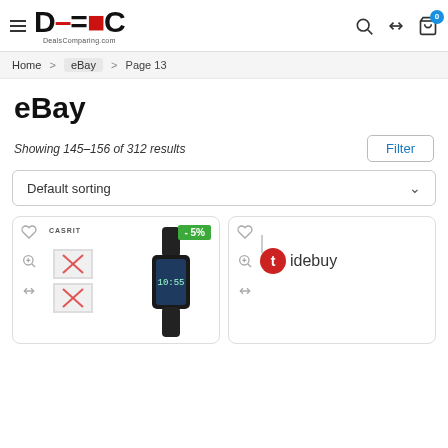DealsComparing.com — eBay Page 13
Home > eBay > Page 13
eBay
Showing 145–156 of 312 results
Filter
Default sorting
[Figure (photo): Product card 1: Casio digital watch with -5% badge, heart icon, zoom icon, compare icon]
[Figure (logo): Product card 2: Tidebuy logo visible, heart icon, zoom icon, compare icon]